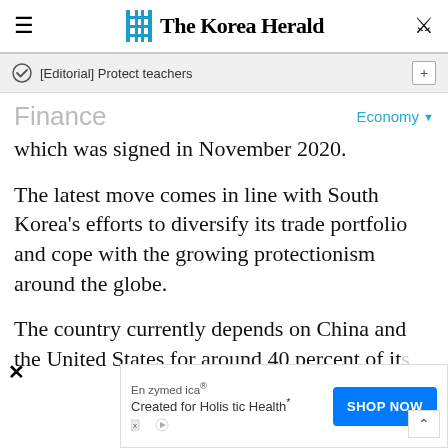The Korea Herald
[Editorial] Protect teachers
Finance
Economy
which was signed in November 2020.
The latest move comes in line with South Korea's efforts to diversify its trade portfolio and cope with the growing protectionism around the globe.
The country currently depends on China and the United States for around 40 percent of its
[Figure (other): Advertisement: Enzymedica Created for Holistic Health with Shop Now button]